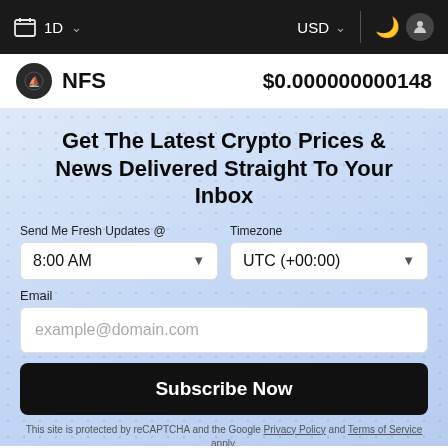1D  USD
NFS  $0.000000000148
Get The Latest Crypto Prices & News Delivered Straight To Your Inbox
Send Me Fresh Updates @
8:00 AM
Timezone
UTC (+00:00)
Email
example@domain.com
Subscribe Now
This site is protected by reCAPTCHA and the Google Privacy Policy and Terms of Service apply.